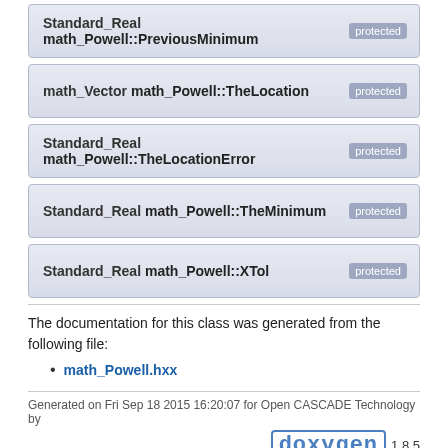Standard_Real math_Powell::PreviousMinimum protected
math_Vector math_Powell::TheLocation protected
Standard_Real math_Powell::TheLocationError protected
Standard_Real math_Powell::TheMinimum protected
Standard_Real math_Powell::XTol protected
The documentation for this class was generated from the following file:
math_Powell.hxx
Generated on Fri Sep 18 2015 16:20:07 for Open CASCADE Technology by doxygen 1.8.5